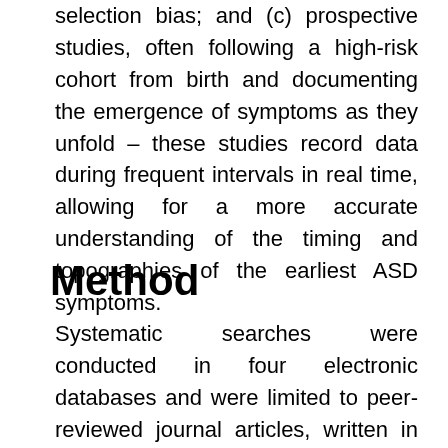selection bias; and (c) prospective studies, often following a high-risk cohort from birth and documenting the emergence of symptoms as they unfold – these studies record data during frequent intervals in real time, allowing for a more accurate understanding of the timing and topographies of the earliest ASD symptoms.
Method
Systematic searches were conducted in four electronic databases and were limited to peer-reviewed journal articles, written in English and published in the previous 6 years. Identical search terms were used across all four databases which